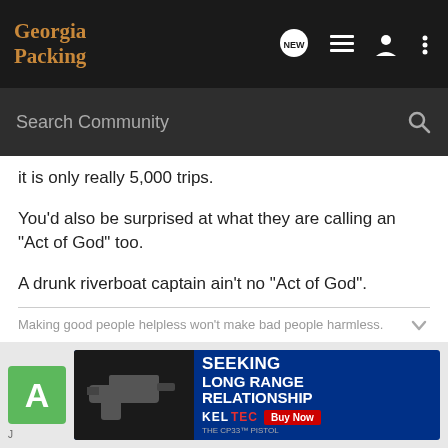Georgia Packing
it is only really 5,000 trips.
You'd also be surprised at what they are calling an "Act of God" too.
A drunk riverboat captain ain't no "Act of God".
Making good people helpless won't make bad people harmless.
[Figure (screenshot): Bottom advertisement banner for Kel-Tec CP33 pistol with text 'SEEKING LONG RANGE RELATIONSHIP' and Buy Now button]